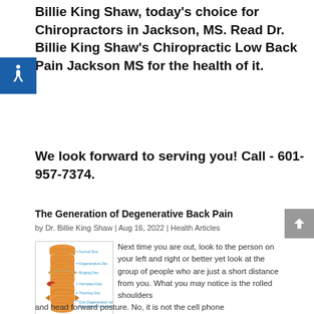Billie King Shaw, today's choice for Chiropractors in Jackson, MS. Read Dr. Billie King Shaw's Chiropractic Low Back Pain Jackson MS for the health of it.
We look forward to serving you! Call - 601-957-7374.
The Generation of Degenerative Back Pain
by Dr. Billie King Shaw | Aug 16, 2022 | Health Articles
[Figure (illustration): Diagram of spine showing Normal Disc, Degenerative Disc, Bulging Disc, Herniated Disc, Thinning Disc, and Disc Degeneration with Osteophyte formation]
Next time you are out, look to the person on your left and right or better yet look at the group of people who are just a short distance from you. What you may notice is the rolled shoulders and head forward posture. No, it is not the cell phone